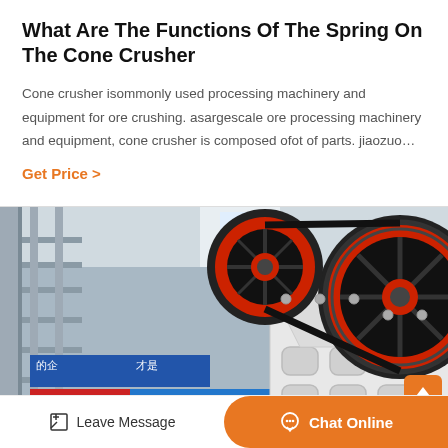What Are The Functions Of The Spring On The Cone Crusher
Cone crusher isommonly used processing machinery and equipment for ore crushing. asargescale ore processing machinery and equipment, cone crusher is composed ofot of parts. jiaozuo…
Get Price >
[Figure (photo): Industrial jaw crusher machinery in a factory setting, showing large red and black flywheel/pulley wheels and white crusher body with bolt holes, Chinese signage visible in background]
Leave Message
Chat Online